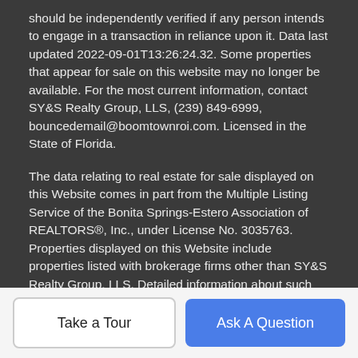should be independently verified if any person intends to engage in a transaction in reliance upon it. Data last updated 2022-09-01T13:26:24.32. Some properties that appear for sale on this website may no longer be available. For the most current information, contact SY&S Realty Group, LLS, (239) 849-6999, bouncedemail@boomtownroi.com. Licensed in the State of Florida.
The data relating to real estate for sale displayed on this Website comes in part from the Multiple Listing Service of the Bonita Springs-Estero Association of REALTORS®, Inc., under License No. 3035763. Properties displayed on this Website include properties listed with brokerage firms other than SY&S Realty Group, LLS. Detailed information about such properties includes the name of the brokerage firm with which the seller has listed the property. The properties displayed may not be all the properties listed with brokerage firms participating in the Bonita Springs-Estero Association of REALTORS® Multiple Listing Service, or
Take a Tour
Ask A Question